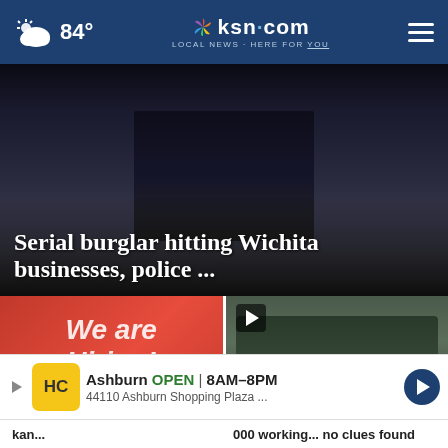84° ksn.com LOCAL NEWS · HERE FOR YOU
[Figure (photo): Dark image of a person holding keys, lower body visible, crime/burglary related photo]
Serial burglar hitting Wichita businesses, police ...
[Figure (photo): Red 'We are Hiring!' sign with application in foreground]
[Figure (photo): Car door close-up, video thumbnail with play button, police vehicle partial text visible]
Ashburn OPEN 8AM–8PM 44110 Ashburn Shopping Plaza ...
kan... 000 working...  no clues found